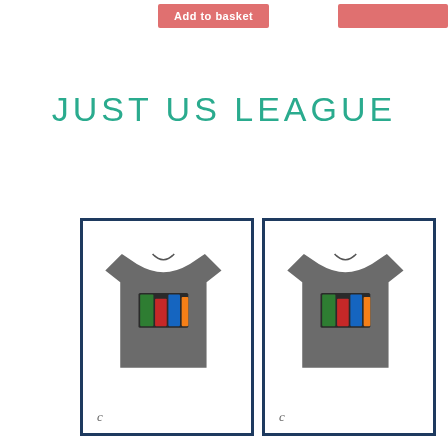[Figure (other): Add to basket button (salmon/coral color) on left, and partial coral button on right]
JUST US LEAGUE
[Figure (photo): Gray t-shirt with graphic print in a dark navy bordered product card, with small logo mark in bottom left]
[Figure (photo): Gray t-shirt with graphic print in a dark navy bordered product card, with small logo mark in bottom left]